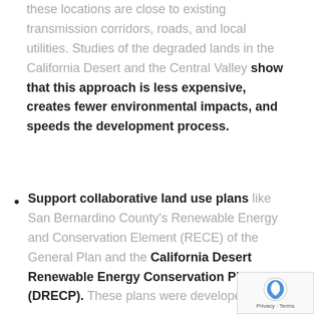these locations are close to existing transmission corridors, roads, and local utilities. Studies of the degraded lands in the California Desert and the Central Valley show that this approach is less expensive, creates fewer environmental impacts, and speeds the development process.
Support collaborative land use plans like San Bernardino County's Renewable Energy and Conservation Element (RECE) of the General Plan and the California Desert Renewable Energy Conservation Plan (DRECP). These plans were developed with